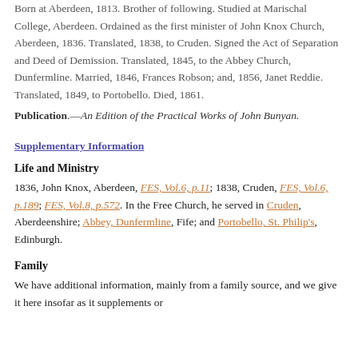Born at Aberdeen, 1813. Brother of following. Studied at Marischal College, Aberdeen. Ordained as the first minister of John Knox Church, Aberdeen, 1836. Translated, 1838, to Cruden. Signed the Act of Separation and Deed of Demission. Translated, 1845, to the Abbey Church, Dunfermline. Married, 1846, Frances Robson; and, 1856, Janet Reddie. Translated, 1849, to Portobello. Died, 1861.
Publication.—An Edition of the Practical Works of John Bunyan.
Supplementary Information
Life and Ministry
1836, John Knox, Aberdeen, FES, Vol.6, p.11; 1838, Cruden, FES, Vol.6, p.189; FES, Vol.8, p.572. In the Free Church, he served in Cruden, Aberdeenshire; Abbey, Dunfermline, Fife; and Portobello, St. Philip's, Edinburgh.
Family
We have additional information, mainly from a family source, and we give it here insofar as it supplements or